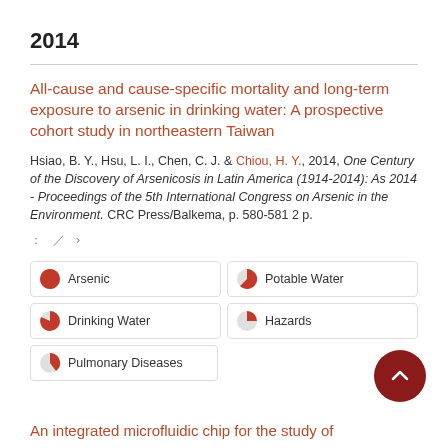2014
All-cause and cause-specific mortality and long-term exposure to arsenic in drinking water: A prospective cohort study in northeastern Taiwan
Hsiao, B. Y., Hsu, L. I., Chen, C. J. & Chiou, H. Y., 2014, One Century of the Discovery of Arsenicosis in Latin America (1914-2014): As 2014 - Proceedings of the 5th International Congress on Arsenic in the Environment. CRC Press/Balkema, p. 580-581 2 p.
: / ›
Arsenic
Potable Water
Drinking Water
Hazards
Pulmonary Diseases
An integrated microfluidic chip for the study of